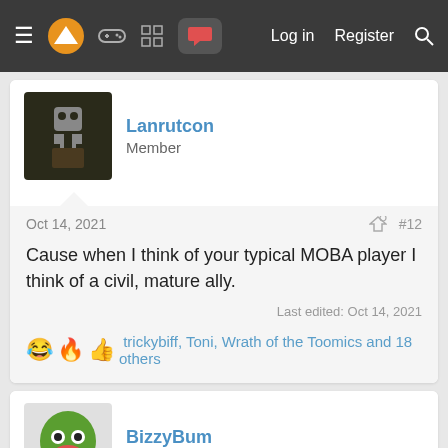Navigation bar with menu, logo, icons, Log in, Register, Search
Lanrutcon
Member
Oct 14, 2021  #12
Cause when I think of your typical MOBA player I think of a civil, mature ally.
Last edited: Oct 14, 2021
trickybiff, Toni, Wrath of the Toomics and 18 others
BizzyBum
Member
Oct 14, 2021
Cerium is actually one of the greatest modern con artists we have ever seen.